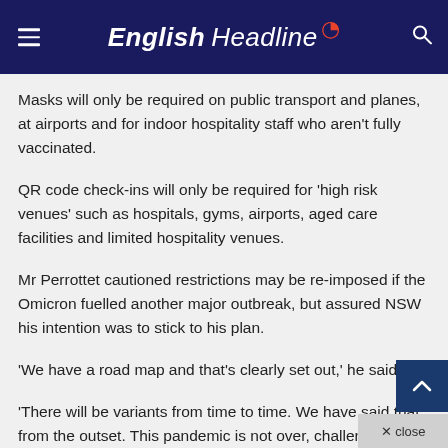English Headline
Masks will only be required on public transport and planes, at airports and for indoor hospitality staff who aren't fully vaccinated.
QR code check-ins will only be required for 'high risk venues' such as hospitals, gyms, airports, aged care facilities and limited hospitality venues.
Mr Perrottet cautioned restrictions may be re-imposed if the Omicron fuelled another major outbreak, but assured NSW his intention was to stick to his plan.
'We have a road map and that's clearly set out,' he said.
'There will be variants from time to time. We have said that from the outset. This pandemic is not over, challenges will continue to come our way.